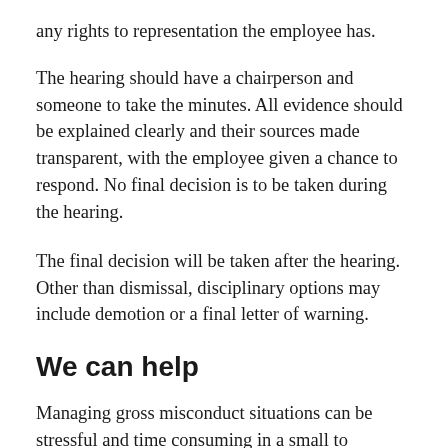any rights to representation the employee has.
The hearing should have a chairperson and someone to take the minutes. All evidence should be explained clearly and their sources made transparent, with the employee given a chance to respond. No final decision is to be taken during the hearing.
The final decision will be taken after the hearing. Other than dismissal, disciplinary options may include demotion or a final letter of warning.
We can help
Managing gross misconduct situations can be stressful and time consuming in a small to...